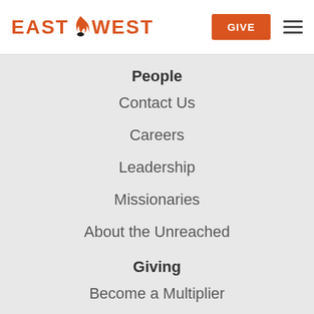EAST WEST | GIVE
People
Contact Us
Careers
Leadership
Missionaries
About the Unreached
Giving
Become a Multiplier